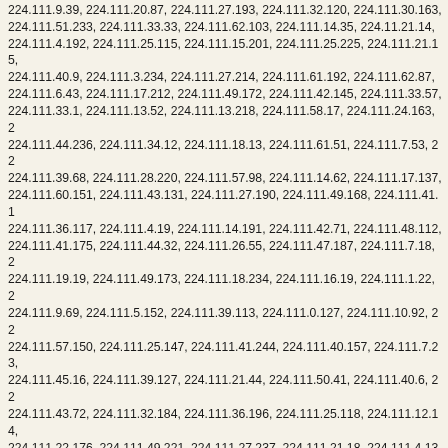224.111.9.39, 224.111.20.87, 224.111.27.193, 224.111.32.120, 224.111.30.163, 224.111.51.233, 224.111.33.33, 224.111.62.103, 224.111.14.35, 224.11.21.14, 224.111.4.192, 224.111.25.115, 224.111.15.201, 224.111.25.225, 224.111.21.15, 224.111.40.9, 224.111.3.234, 224.111.27.214, 224.111.61.192, 224.111.62.87, 224.111.6.43, 224.111.17.212, 224.111.49.172, 224.111.42.145, 224.111.33.57, 224.111.33.1, 224.111.13.52, 224.111.13.218, 224.111.58.17, 224.111.24.163, 224.111.44.236, 224.111.34.12, 224.111.18.13, 224.111.61.51, 224.111.7.53, 224.111.39.68, 224.111.28.220, 224.111.57.98, 224.111.14.62, 224.111.17.137, 224.111.60.151, 224.111.43.131, 224.111.27.190, 224.111.49.168, 224.111.41.1, 224.111.36.117, 224.111.4.19, 224.111.14.191, 224.111.42.71, 224.111.48.112, 224.111.41.175, 224.111.44.32, 224.111.26.55, 224.111.47.187, 224.111.7.18, 224.111.19.19, 224.111.49.173, 224.111.18.234, 224.111.16.19, 224.111.1.22, 224.111.9.69, 224.111.5.152, 224.111.39.113, 224.111.0.127, 224.111.10.92, 224.111.57.150, 224.111.25.147, 224.111.41.244, 224.111.40.157, 224.111.7.23, 224.111.45.16, 224.111.39.127, 224.111.21.44, 224.111.50.41, 224.111.40.6, 224.111.43.72, 224.111.32.184, 224.111.36.196, 224.111.25.118, 224.111.12.14, 224.111.22.176, 224.111.49.221, 224.111.27.237, 224.111.21.18, 224.111.4.135, 224.111.52.87, 224.111.1.219, 224.111.13.195, 224.111.2.143, 224.111.60.13, 224.111.55.236, 224.111.7.158, 224.111.47.221, 224.111.62.102, 224.111.12.16, 224.111.50.80, 224.111.30.219, 224.111.5.212, 224.111.17.228, 224.111.41.209, 224.111.60.170, 224.111.42.123, 224.111.7.68, 224.111.62.228, 224.111.14.0, 224.111.61.63, 224.111.10.200, 224.111.34.228, 224.111.35.145, 224.111.12.83, 224.111.19.163, 224.111.30.148, 224.111.12.185, 224.111.60.74, 224.111.8.218, 224.111.31.14, 224.111.27.184, 224.111.41.179, 224.111.2.167, 224.111.58.11, 224.111.12.198, 224.111.2.253, 224.111.16.110, 224.111.2.62, 224.111.63.208, 224.111.10.34, 224.111.50.150, 224.111.3.51, 224.111.46.91, 224.111.55.161, 224.111.57.202, 224.111.36.65, 224.111.11.194, 224.111.24.217, 224.111.62.4, 224.111.39.180, 224.111.16.165, 224.111.7.251, 224.111.51.252, 224.111.6.0, 224.111.33.107, 224.111.5.87, 224.111.52.227, 224.111.47.237, 224.111.2.176, 224.111.26.185, 224.111.59.17, 224.111.15.220, 224.111.41.8, 224.111.45.196, 224.111.53.209, 224.111.51.110, 224.111.30.130, 224.111.14.47, 224.111.2.116, 224.111.41.186, 224.111.9.41, 224.111.1.185, 224.111.24.136, 224.111.62.106, 224.111.10.247, 224.111.52.142, 224.111.9.6, 224.111.57.220, 224.111.7.237